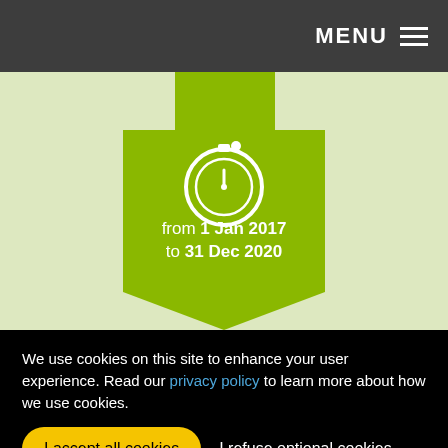MENU
[Figure (infographic): Green hexagon badge with a stopwatch/timer icon and text: from 1 Jan 2017 to 31 Dec 2020]
We use cookies on this site to enhance your user experience. Read our privacy policy to learn more about how we use cookies.
I accept all cookies | I refuse optional cookies